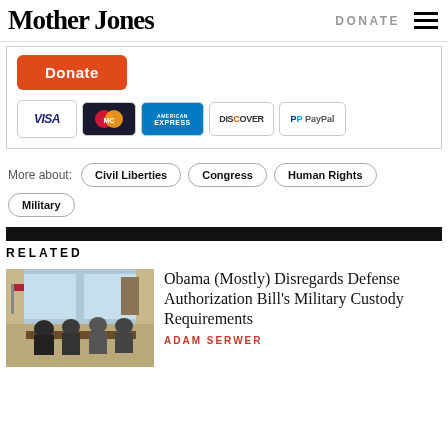Mother Jones | DONATE
[Figure (screenshot): Donate button (orange) with payment icons: VISA, MasterCard, American Express, Discover, PayPal]
More about: Civil Liberties   Congress   Human Rights
Military
RELATED
[Figure (photo): Photo of people meeting around a table in an office, appears to be the Oval Office]
Obama (Mostly) Disregards Defense Authorization Bill's Military Custody Requirements
ADAM SERWER